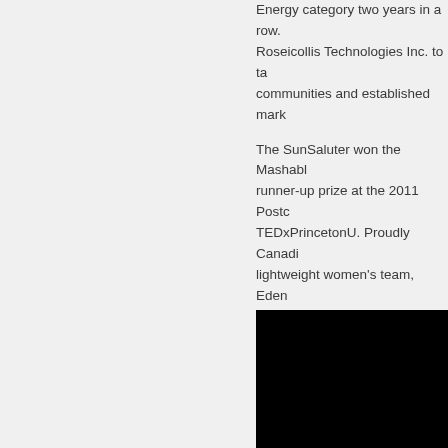Energy category two years in a row. Roseicollis Technologies Inc. to take communities and established mark
The SunSaluter won the Mashable runner-up prize at the 2011 Postco TEDxPrincetonU. Proudly Canadia lightweight women's team, Eden w women's development team, wher Cup at the Henley Royal Regatta,
She shared her story about her pa East Africa. Provided extra electri extra water but clean to people eve a partner in Kirindi Uganda. The g
[Figure (photo): A dark/black image, likely a photograph that is mostly black, positioned in the lower right portion of the page.]